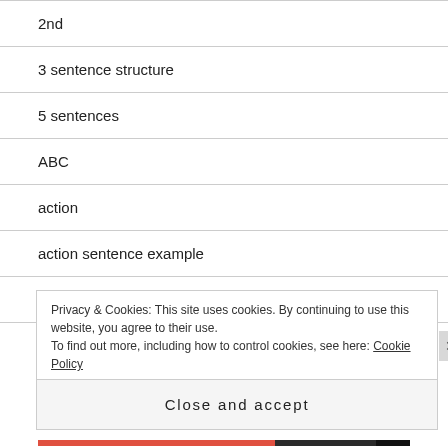2nd
3 sentence structure
5 sentences
ABC
action
action sentence example
Apple
areas of the stage
Privacy & Cookies: This site uses cookies. By continuing to use this website, you agree to their use.
To find out more, including how to control cookies, see here: Cookie Policy
Close and accept